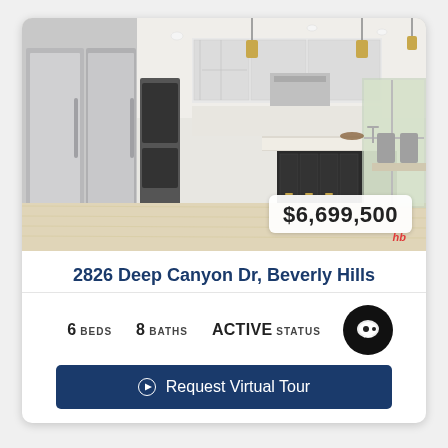[Figure (photo): Interior kitchen photo of a modern luxury home with stainless steel appliances, dark island with bar stools, white cabinetry, gold pendant lights, and light hardwood floors. Price badge showing $6,699,500 in bottom right corner.]
2826 Deep Canyon Dr, Beverly Hills
6 BEDS   8 BATHS   ACTIVE STATUS
Request Virtual Tour